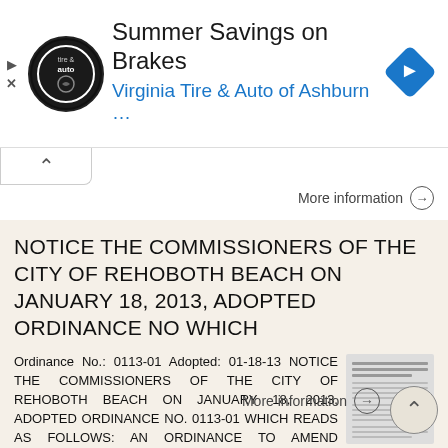[Figure (screenshot): Advertisement banner for Virginia Tire & Auto of Ashburn with logo, heading 'Summer Savings on Brakes', and a blue navigation diamond icon]
More information →
NOTICE THE COMMISSIONERS OF THE CITY OF REHOBOTH BEACH ON JANUARY 18, 2013, ADOPTED ORDINANCE NO WHICH
Ordinance No.: 0113-01 Adopted: 01-18-13 NOTICE THE COMMISSIONERS OF THE CITY OF REHOBOTH BEACH ON JANUARY 18, 2013, ADOPTED ORDINANCE NO. 0113-01 WHICH READS AS FOLLOWS: AN ORDINANCE TO AMEND CHAPTER
More information →